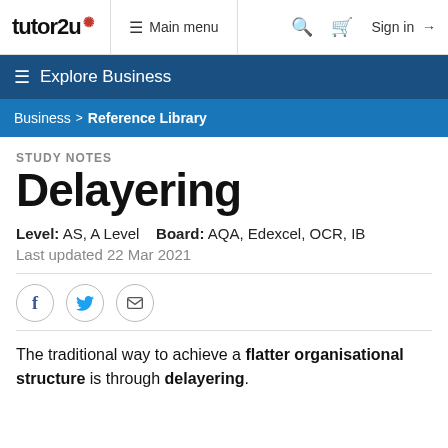tutor2u | Main menu | Sign in
Explore Business
Business > Reference Library
STUDY NOTES
Delayering
Level: AS, A Level    Board: AQA, Edexcel, OCR, IB
Last updated 22 Mar 2021
The traditional way to achieve a flatter organisational structure is through delayering.